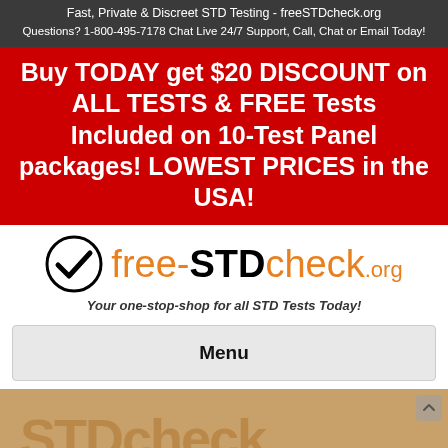Fast, Private & Discreet STD Testing - freeSTDcheck.org
Questions? 1-800-495-7178 Chat Live 24/7 Support, Call, Chat or Email Today!
Buy TODAY get $20 DISCOUNT on ALL TESTS & FREE Tests Included on 10-Test Panel packages! LOWEST PRICES in the USA!
[Figure (logo): free-STDcheck.org logo with checkmark circle and tagline 'Your one-stop-shop for all STD Tests Today!']
Menu
[Figure (photo): Partial bottom image showing free-STDcheck branding on a tan/beige background]